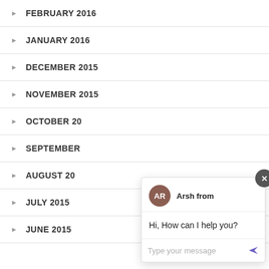FEBRUARY 2016
JANUARY 2016
DECEMBER 2015
NOVEMBER 2015
OCTOBER 20...
SEPTEMBER
AUGUST 20...
JULY 2015
JUNE 2015
[Figure (screenshot): Chat widget overlay with agent avatar 'AR' (Arsh), greeting message 'Hi, How can I help you?', text input field with placeholder 'Type your message', a send button, and a close X button. Also a purple chat launch button in the bottom right corner.]